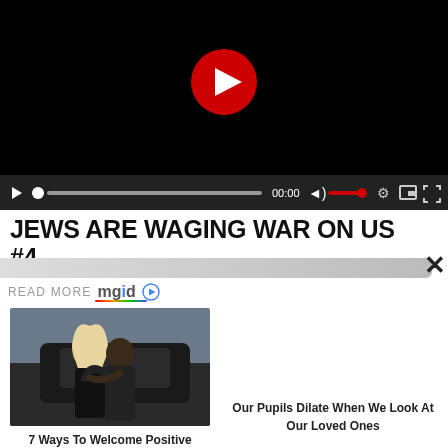[Figure (screenshot): Video player with black background, red circular play button in center, and playback controls bar at bottom showing play icon, progress bar, 00:00 timestamp, volume, settings, pip and fullscreen icons]
JEWS ARE WAGING WAR ON US #4
READ MORE mgid ▶
[Figure (photo): Couple kissing/embracing near a dark car, woman with long blonde hair wearing black outfit]
7 Ways To Welcome Positive Energy Into Your Love Life
Our Pupils Dilate When We Look At Our Loved Ones